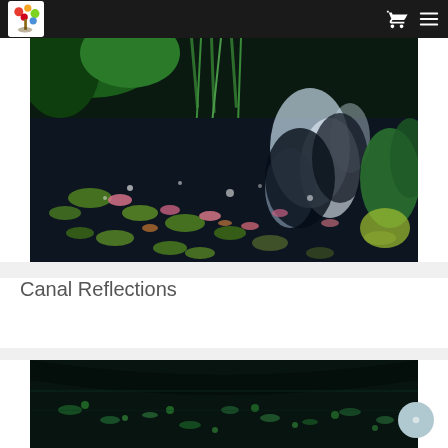Navigation bar with logo, cart and menu icons
[Figure (illustration): Painting of a water lily pond with reflections — green foliage and reeds at top, large lily pads on dark water with pink and orange lily flowers, reflections of white clouds or structures in dark blue-black water, green and yellow plants on right.]
Canal Reflections
[Figure (illustration): Painting of a dark canal or pond at night with small green lily pads or aquatic plants floating on very dark water, dimly lit.]